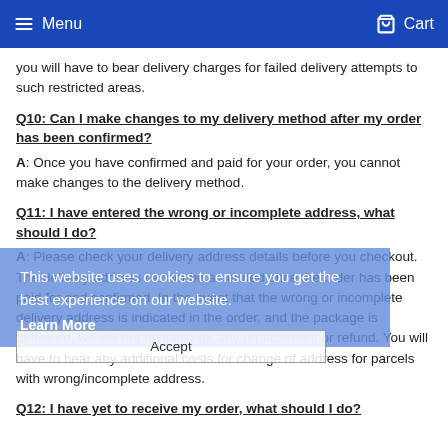Menu  Cart
you will have to bear delivery charges for failed delivery attempts to such restricted areas.
Q10: Can I make changes to my delivery method after my order has been confirmed?
A: Once you have confirmed and paid for your order, you cannot make changes to the delivery method.
Q11: I have entered the wrong or incomplete address, what should I do?
A: Please check your delivery address details before you checkout. The delivery address cannot be amended once the order has been paid for and confirmed. In the event that the wrong or incomplete delivery address is indicated in the order, and the package is delivered, we will not be liable for any replacement or refund. You will have to bear any additional costs for change of address for parcels with wrong/incomplete address.
Q12: I have yet to receive my order, what should I do?